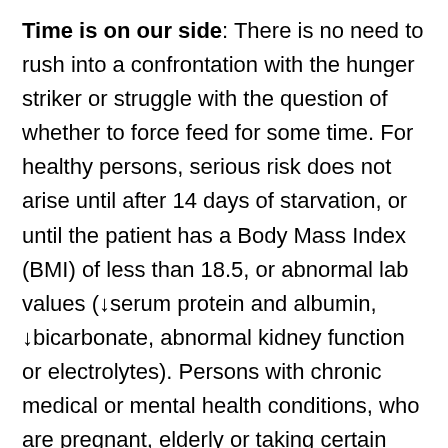Time is on our side: There is no need to rush into a confrontation with the hunger striker or struggle with the question of whether to force feed for some time. For healthy persons, serious risk does not arise until after 14 days of starvation, or until the patient has a Body Mass Index (BMI) of less than 18.5, or abnormal lab values (↓serum protein and albumin, ↓bicarbonate, abnormal kidney function or electrolytes). Persons with chronic medical or mental health conditions, who are pregnant, elderly or taking certain types of medication (e.g. insulin, diuretics, antacids) risk experiencing complications earlier. Nurses and custody staff should ensure that fluids are available at all times and food is offered according to the regular meal schedule. During this early period it is important for nurses to concentrate on building a therapeutic relationship with the patient; one that